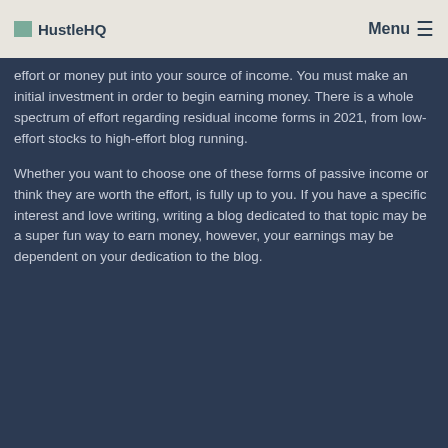HustleHQ   Menu ☰
effort or money put into your source of income. You must make an initial investment in order to begin earning money. There is a whole spectrum of effort regarding residual income forms in 2021, from low-effort stocks to high-effort blog running.
Whether you want to choose one of these forms of passive income or think they are worth the effort, is fully up to you. If you have a specific interest and love writing, writing a blog dedicated to that topic may be a super fun way to earn money, however, your earnings may be dependent on your dedication to the blog.